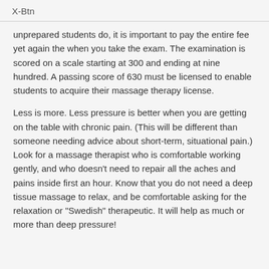X-Btn
unprepared students do, it is important to pay the entire fee yet again the when you take the exam. The examination is scored on a scale starting at 300 and ending at nine hundred. A passing score of 630 must be licensed to enable students to acquire their massage therapy license.
Less is more. Less pressure is better when you are getting on the table with chronic pain. (This will be different than someone needing advice about short-term, situational pain.) Look for a massage therapist who is comfortable working gently, and who doesn't need to repair all the aches and pains inside first an hour. Know that you do not need a deep tissue massage to relax, and be comfortable asking for the relaxation or "Swedish" therapeutic. It will help as much or more than deep pressure!